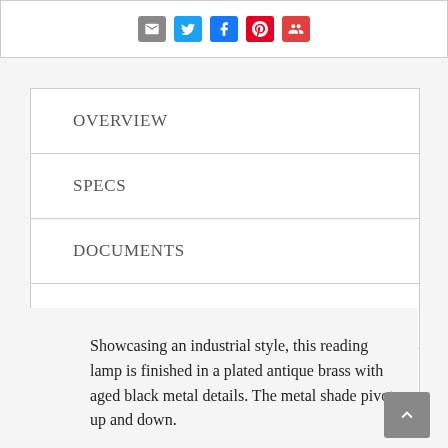[Figure (other): Social share icons: email, Twitter, Facebook, Pinterest, and another red icon]
OVERVIEW
SPECS
DOCUMENTS
DELIVERY
WARRANTY
Showcasing an industrial style, this reading lamp is finished in a plated antique brass with aged black metal details. The metal shade pivots up and down.